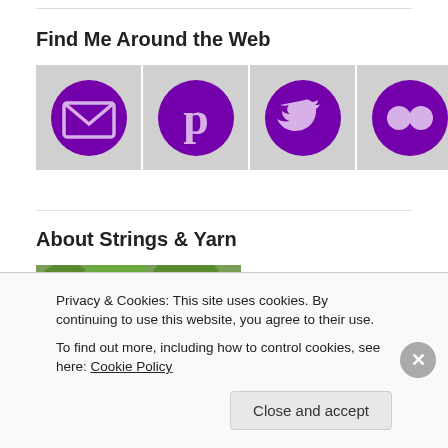Find Me Around the Web
[Figure (illustration): Six purple circular social media icons in gray boxes: email/envelope, Pinterest, Twitter, Flickr, Ravelry, RSS feed]
About Strings & Yarn
[Figure (photo): Portrait photo of a woman with brown hair and glasses against a green leafy background]
Privacy & Cookies: This site uses cookies. By continuing to use this website, you agree to their use.
To find out more, including how to control cookies, see here: Cookie Policy
Close and accept